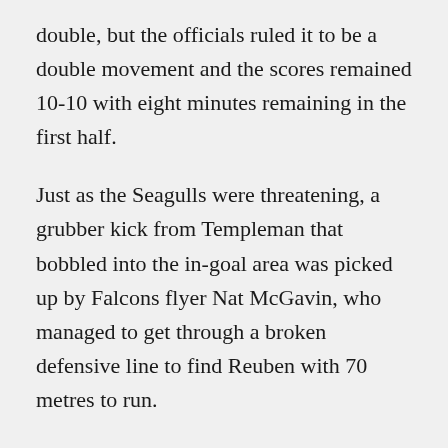double, but the officials ruled it to be a double movement and the scores remained 10-10 with eight minutes remaining in the first half.
Just as the Seagulls were threatening, a grubber kick from Templeman that bobbled into the in-goal area was picked up by Falcons flyer Nat McGavin, who managed to get through a broken defensive line to find Reuben with 70 metres to run.
With no Seagulls in front of him, he unselfishly offloaded the ball to speed star Nicho Hynes to score under the posts and ensure the Falcons went into the break with a 16-10 lead.